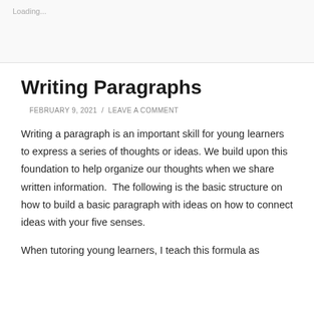Loading...
Writing Paragraphs
FEBRUARY 9, 2021  /  LEAVE A COMMENT
Writing a paragraph is an important skill for young learners to express a series of thoughts or ideas. We build upon this foundation to help organize our thoughts when we share written information. The following is the basic structure on how to build a basic paragraph with ideas on how to connect ideas with your five senses.
When tutoring young learners, I teach this formula as